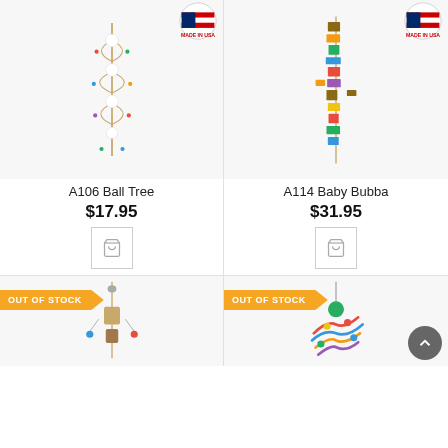[Figure (photo): A106 Ball Tree parrot toy with white balls, colorful beads and rope, hanging vertically]
A106 Ball Tree
$17.95
[Figure (photo): A114 Baby Bubba parrot toy with colorful wooden blocks and natural wood pieces on rope]
A114 Baby Bubba
$31.95
[Figure (photo): OUT OF STOCK parrot toy hanging from chain - appears to be a natural wood/rope toy]
[Figure (photo): OUT OF STOCK parrot toy with colorful ropes and a green ball on top]